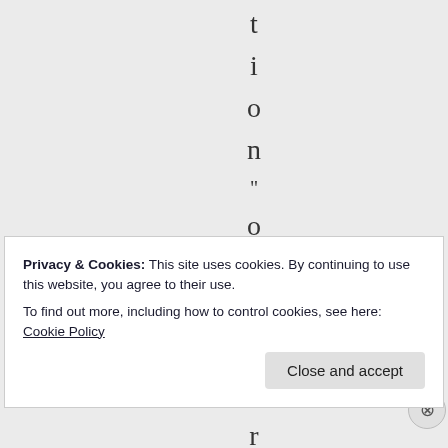t i o n " o v e r w r
Privacy & Cookies: This site uses cookies. By continuing to use this website, you agree to their use.
To find out more, including how to control cookies, see here: Cookie Policy
Close and accept